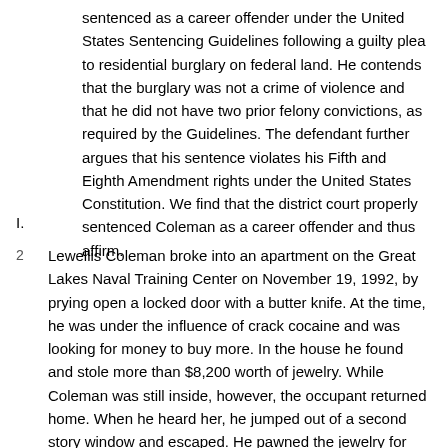sentenced as a career offender under the United States Sentencing Guidelines following a guilty plea to residential burglary on federal land. He contends that the burglary was not a crime of violence and that he did not have two prior felony convictions, as required by the Guidelines. The defendant further argues that his sentence violates his Fifth and Eighth Amendment rights under the United States Constitution. We find that the district court properly sentenced Coleman as a career offender and thus affirm.
I.
2  Lewellis Coleman broke into an apartment on the Great Lakes Naval Training Center on November 19, 1992, by prying open a locked door with a butter knife. At the time, he was under the influence of crack cocaine and was looking for money to buy more. In the house he found and stole more than $8,200 worth of jewelry. While Coleman was still inside, however, the occupant returned home. When he heard her, he jumped out of a second story window and escaped. He pawned the jewelry for $120 and bought some crack. After his arrest, Coleman took police to the pawn shop, where they recovered $5,300 worth of the stolen jewelry.